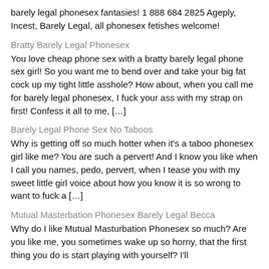barely legal phonesex fantasies! 1 888 684 2825 Ageply, Incest, Barely Legal, all phonesex fetishes welcome!
Bratty Barely Legal Phonesex
You love cheap phone sex with a bratty barely legal phone sex girl! So you want me to bend over and take your big fat cock up my tight little asshole? How about, when you call me for barely legal phonesex, I fuck your ass with my strap on first! Confess it all to me, […]
Barely Legal Phone Sex No Taboos
Why is getting off so much hotter when it's a taboo phonesex girl like me? You are such a pervert! And I know you like when I call you names, pedo, pervert, when I tease you with my sweet little girl voice about how you know it is so wrong to want to fuck a […]
Mutual Masterbation Phonesex Barely Legal Becca
Why do I like Mutual Masturbation Phonesex so much? Are you like me, you sometimes wake up so horny, that the first thing you do is start playing with yourself? I'll